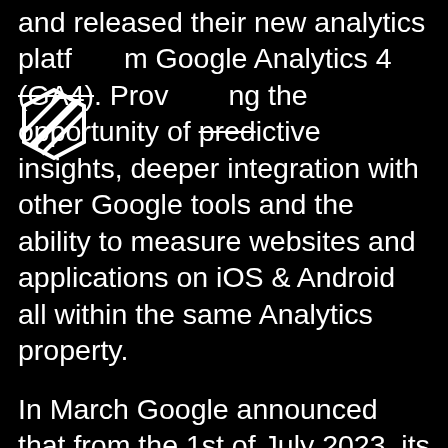[Figure (logo): A stylized shield/hexagonal logo with diagonal lines in white and black, overlapping with the text]
and released their new analytics platform Google Analytics 4 (GA4). Providing the opportunity of predictive insights, deeper integration with other Google tools and the ability to measure websites and applications on iOS & Android all within the same Analytics property.
In March Google announced that from the 1st of July 2023, its current analytic platform, Google Universal Analytics (UA) would no longer process data, meaning as of May 2022 UA will be a